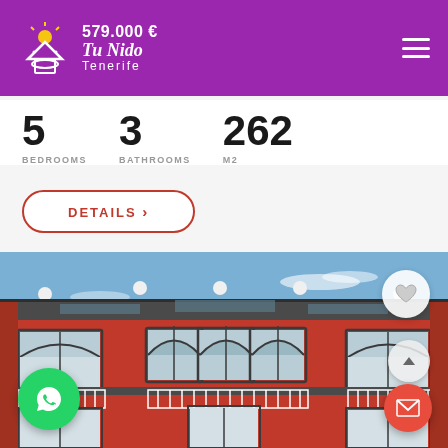Tu Nido Tenerife — 579,000 €
5 BEDROOMS  3 BATHROOMS  262 M2
DETAILS >
[Figure (photo): Front facade of a red colonial-style two-storey building with grey trim, arched windows, white balcony railings, decorative cornices and ornamental roof finials against a blue sky.]